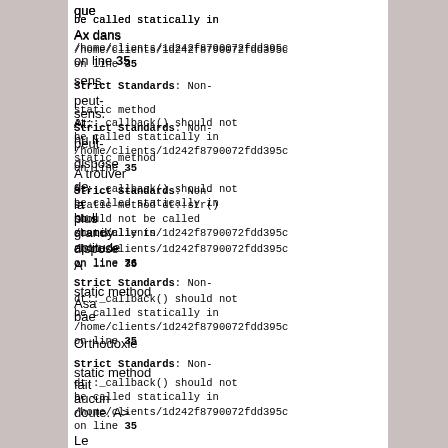que
be called statically in
Ax dans
/home/clients/1d242f8790072fdd395c
on line 35
sens.
Strict Standards: Non-static method At::_callback() should not be called statically in
/home/clients/1d242f8790072fdd395c
on line 35
pu it-
A trouver
dispose
de
Strict Standards: Non-static method dt::str() should not be called statically in
/home/clients/1d242f8790072fdd395c
on line 76
la
plus
grandy
aptitude
A
Strict Standards: Non-static method dt::_callback() should not be called statically in
/home/clients/1d242f8790072fdd395c
on line 35
Asa
bae
Orthodoxie
Strict Standards: Non-static method dt::_callback() should not be called statically in
/home/clients/1d242f8790072fdd395c
on line 35
fait
aucun
doute. A>
Le